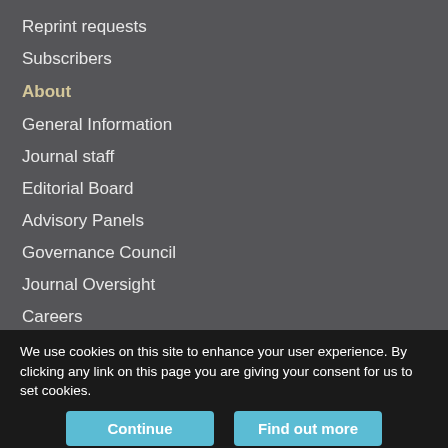Reprint requests
Subscribers
About
General Information
Journal staff
Editorial Board
Advisory Panels
Governance Council
Journal Oversight
Careers
Contact
Copyright and Permissions
We use cookies on this site to enhance your user experience. By clicking any link on this page you are giving your consent for us to set cookies.
Continue | Find out more